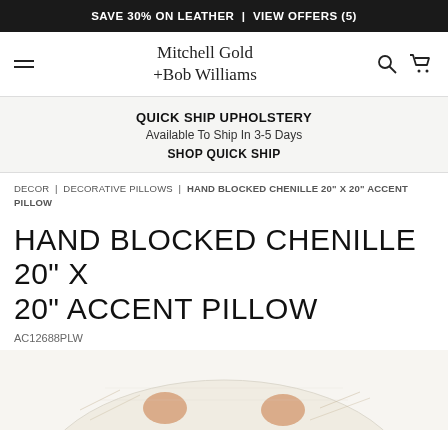SAVE 30% ON LEATHER | VIEW OFFERS (5)
[Figure (screenshot): Mitchell Gold +Bob Williams website navigation bar with hamburger menu, logo, search and cart icons]
QUICK SHIP UPHOLSTERY
Available To Ship In 3-5 Days
SHOP QUICK SHIP
DECOR | DECORATIVE PILLOWS | HAND BLOCKED CHENILLE 20" X 20" ACCENT PILLOW
HAND BLOCKED CHENILLE 20" X 20" ACCENT PILLOW
AC12688PLW
[Figure (photo): Partial view of a hand blocked chenille accent pillow, cream/ivory with decorative pattern visible at bottom of page]